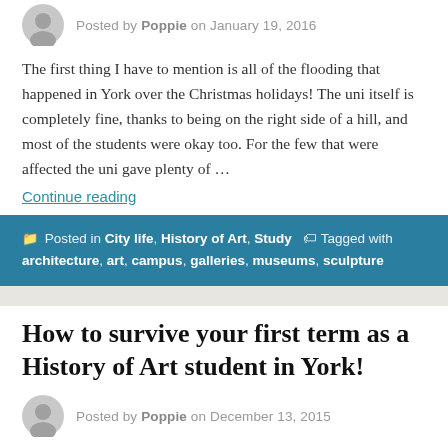Posted by Poppie on January 19, 2016
The first thing I have to mention is all of the flooding that happened in York over the Christmas holidays! The uni itself is completely fine, thanks to being on the right side of a hill, and most of the students were okay too. For the few that were affected the uni gave plenty of ...
Continue reading
Posted in City life, History of Art, Study   Tagged with architecture, art, campus, galleries, museums, sculpture
How to survive your first term as a History of Art student in York!
Posted by Poppie on December 13, 2015